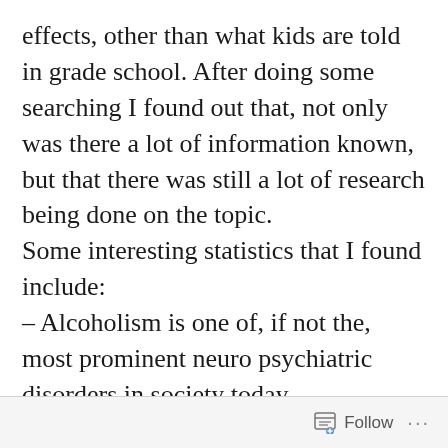effects, other than what kids are told in grade school. After doing some searching I found out that, not only was there a lot of information known, but that there was still a lot of research being done on the topic.
Some interesting statistics that I found include:
– Alcoholism is one of, if not the, most prominent neuro psychiatric disorders in society today.
– In 2010 the number of alcohol-induced deaths, excluding accidents and homicides, was 25,692.
– Around 35% of abuse victims report that
Follow ···